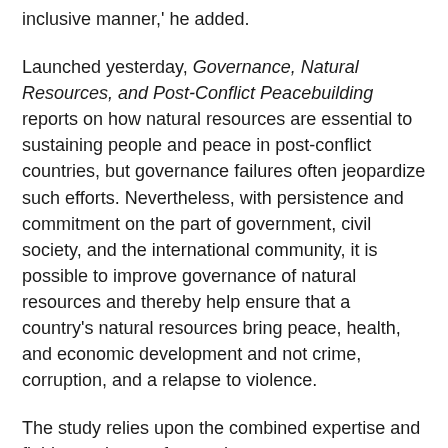inclusive manner,' he added.
Launched yesterday, Governance, Natural Resources, and Post-Conflict Peacebuilding reports on how natural resources are essential to sustaining people and peace in post-conflict countries, but governance failures often jeopardize such efforts. Nevertheless, with persistence and commitment on the part of government, civil society, and the international community, it is possible to improve governance of natural resources and thereby help ensure that a country's natural resources bring peace, health, and economic development and not crime, corruption, and a relapse to violence.
The study relies upon the combined expertise and field experience of more than seventy researchers, diplomats, military personnel, and practitioners from governmental, intergovernmental, and nongovernmental organizations to illustrate the mutually reinforcing relationship between natural resources, good governance, and peace. It